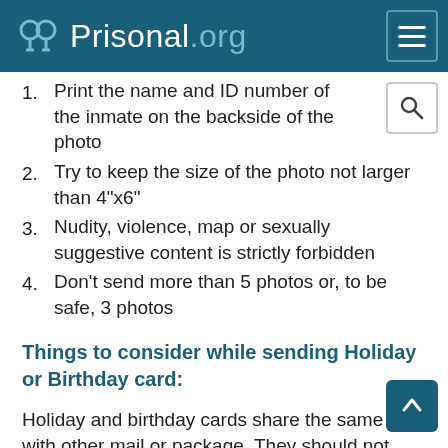Prisonal.org
Print the name and ID number of the inmate on the backside of the photo
Try to keep the size of the photo not larger than 4"x6"
Nudity, violence, map or sexually suggestive content is strictly forbidden
Don't send more than 5 photos or, to be safe, 3 photos
Things to consider while sending Holiday or Birthday card:
Holiday and birthday cards share the same rule with other mail or package. They should not contain any electronic or popup/out material. Nudity or sexually suggestive cards are forbidden. Cards should not glitter, stickers, etc. on them. All cards are viewed before they reach the inmate.